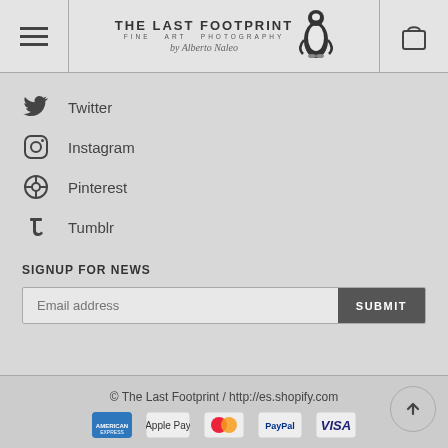THE LAST FOOTPRINT FINE ART PHOTOGRAPHY by Alberto Naleo
Twitter
Instagram
Pinterest
Tumblr
SIGNUP FOR NEWS
Email address
© The Last Footprint / http://es.shopify.com